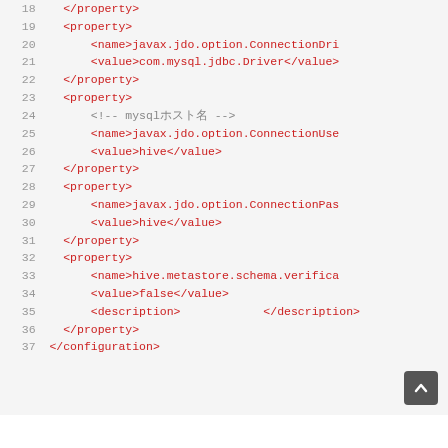[Figure (screenshot): Code editor screenshot showing XML configuration file lines 18-37 with line numbers on left and red-colored XML tags on light gray background. Lines include property, name, value, description, and configuration tags. A scroll-to-top button appears in the bottom-right corner.]